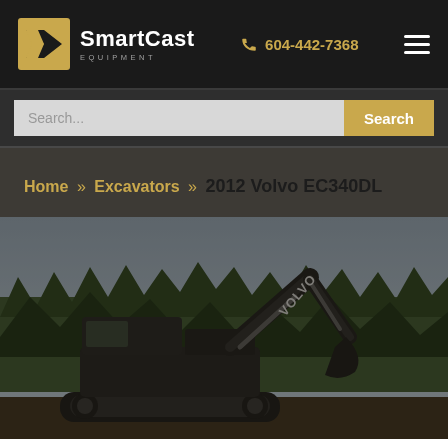SmartCast Equipment | 604-442-7368
Search...
Home » Excavators » 2012 Volvo EC340DL
[Figure (photo): A Volvo EC340DL excavator photographed outdoors among tall evergreen trees with an overcast sky background. The excavator is dark colored with the Volvo logo visible on the arm.]